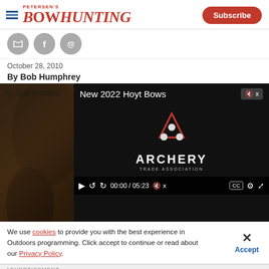Petersen's Bowhunting — Subscribe
[Figure (screenshot): Social media share icons: Twitter, Facebook, Email]
October 28, 2010
By Bob Humphrey
By Bob Humphrey
[Figure (screenshot): Video player showing 'New 2022 Hoyt Bows' with Archery Trade Association logo, controls showing 00:00 / 05:23]
[Figure (photo): Article photo showing deer/hunting scene in forest]
We use cookies to provide you with the best experience in Outdoors programming. Click accept to continue or read about our Privacy Policy.
Advertisement
[Figure (photo): Benelli advertisement showing hunter with gun in outdoor landscape]